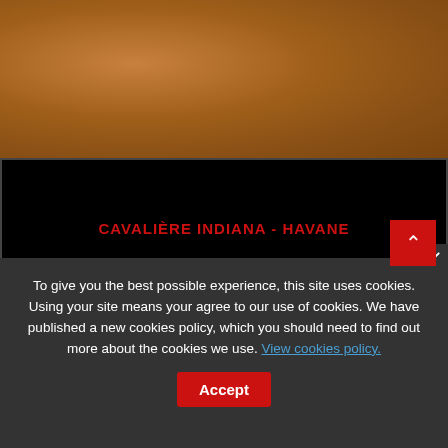[Figure (photo): Close-up of brown leather texture in havane (tobacco) color]
CAVALIÈRE INDIANA - HAVANE
314,17€
[Figure (illustration): Red add-to-cart button with shopping cart icon]
[Figure (photo): White section with partial product image below]
To give you the best possible experience, this site uses cookies. Using your site means your agree to our use of cookies. We have published a new cookies policy, which you should need to find out more about the cookies we use. View cookies policy.
Accept